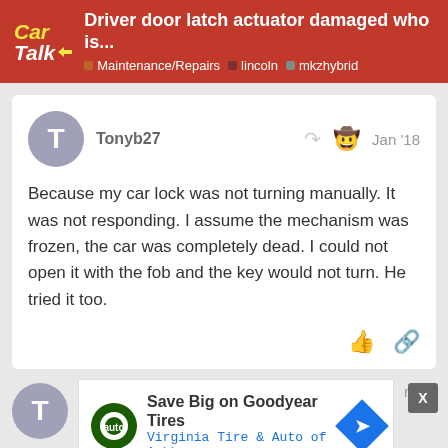Driver door latch actuator damaged who is... | Maintenance/Repairs | lincoln | mkzhybrid
Tonyb27 Jan '18
Because my car lock was not turning manually. It was not responding. I assume the mechanism was frozen, the car was completely dead. I could not open it with the fob and the key would not turn. He tried it too.
Jan '18
[Figure (screenshot): Advertisement: Save Big on Goodyear Tires - Virginia Tire & Auto of Ashburn]